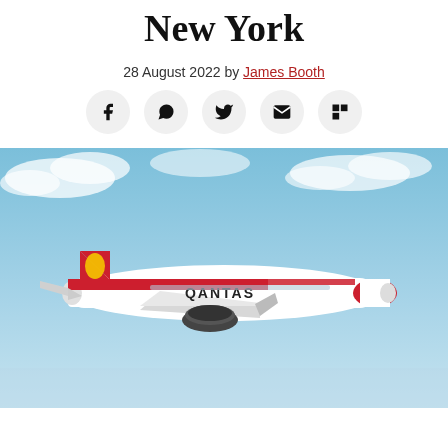New York
28 August 2022 by James Booth
[Figure (photo): Qantas aircraft (Airbus A321) flying in a blue sky with clouds, showing the distinctive red Qantas livery with kangaroo logo and QANTAS branding on the fuselage.]